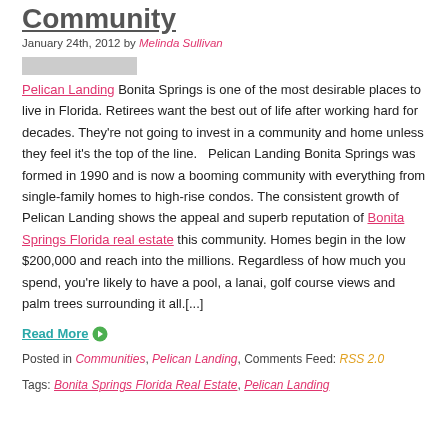Community
January 24th, 2012 by Melinda Sullivan
[Figure (other): Gray placeholder image block]
Pelican Landing Bonita Springs is one of the most desirable places to live in Florida. Retirees want the best out of life after working hard for decades. They’re not going to invest in a community and home unless they feel it’s the top of the line.   Pelican Landing Bonita Springs was formed in 1990 and is now a booming community with everything from single-family homes to high-rise condos. The consistent growth of Pelican Landing shows the appeal and superb reputation of Bonita Springs Florida real estate this community. Homes begin in the low $200,000 and reach into the millions. Regardless of how much you spend, you’re likely to have a pool, a lanai, golf course views and palm trees surrounding it all.[...]
Read More
Posted in Communities, Pelican Landing, Comments Feed: RSS 2.0
Tags: Bonita Springs Florida Real Estate, Pelican Landing